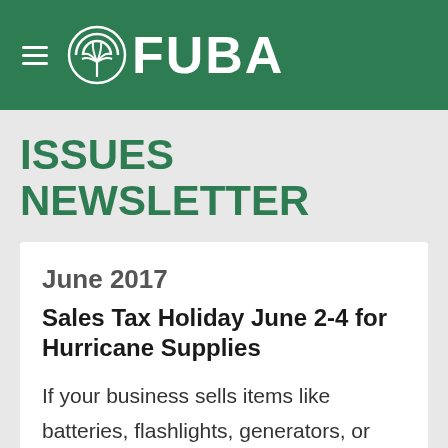FUBA
ISSUES NEWSLETTER
June 2017
Sales Tax Holiday June 2-4 for Hurricane Supplies
If your business sells items like
batteries, flashlights, generators, or